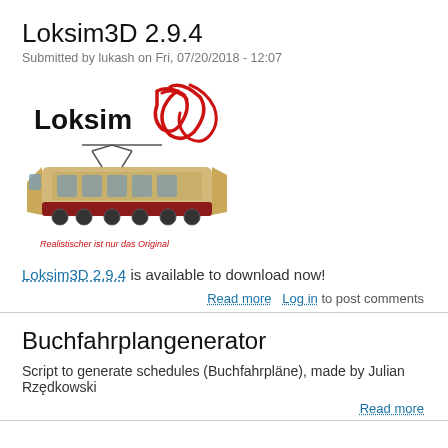Loksim3D 2.9.4
Submitted by lukash on Fri, 07/20/2018 - 12:07
[Figure (logo): Loksim3D logo with a 3D rendered locomotive (cream/red DB electric locomotive) and the text 'Loksim3D' in bold with red 3D stylized letters. Tagline: 'Realistischer ist nur das Original']
Loksim3D 2.9.4 is available to download now!
Read more   Log in to post comments
Buchfahrplangenerator
Script to generate schedules (Buchfahrpläne), made by Julian Rzędkowski
Read more